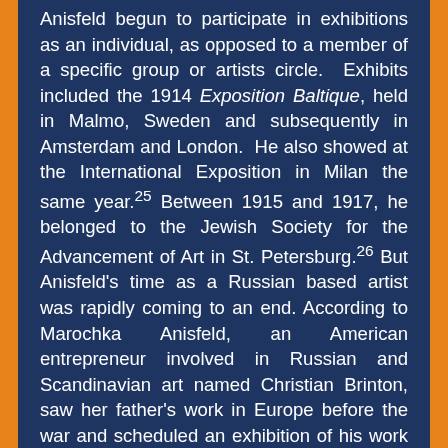Anisfeld begun to participate in exhibitions as an individual, as opposed to a member of a specific group or artists circle. Exhibits included the 1914 Exposition Baltique, held in Malmo, Sweden and subsequently in Amsterdam and London. He also showed at the International Exposition in Milan the same year.25 Between 1915 and 1917, he belonged to the Jewish Society for the Advancement of Art in St. Petersburg.26 But Anisfeld's time as a Russian based artist was rapidly coming to an end. According to Marochka Anisfeld, an American entrepreneur involved in Russian and Scandinavian art named Christian Brinton, saw her father's work in Europe before the war and scheduled an exhibition of his work in New York for 1918.27 Although no documents linking Brinton to Anisfeld before 1918 have been found, her story appears to have merit since Anisfeld petitioned for and received a visa from the Provisional